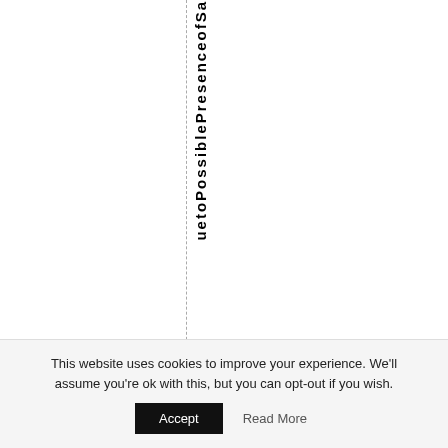uetoPossiblePresenceofSa
This website uses cookies to improve your experience. We'll assume you're ok with this, but you can opt-out if you wish.